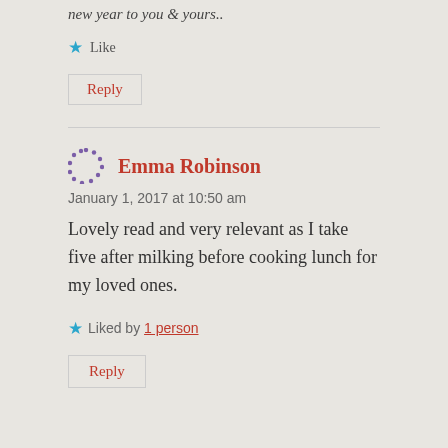new year to you & yours..
★ Like
Reply
Emma Robinson
January 1, 2017 at 10:50 am
Lovely read and very relevant as I take five after milking before cooking lunch for my loved ones.
★ Liked by 1 person
Reply